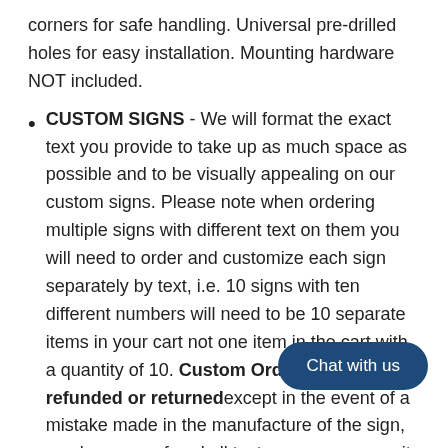corners for safe handling. Universal pre-drilled holes for easy installation. Mounting hardware NOT included.
CUSTOM SIGNS - We will format the exact text you provide to take up as much space as possible and to be visually appealing on our custom signs. Please note when ordering multiple signs with different text on them you will need to order and customize each sign separately by text, i.e. 10 signs with ten different numbers will need to be 10 separate items in your cart not one item in the cart with a quantity of 10. Custom Orders cannot be refunded or returned except in the event of a mistake made in the manufacture of the sign, so please proofread all text carefully for its accuracy. If you have any questions or you have ordered correctly please message us and we will ...